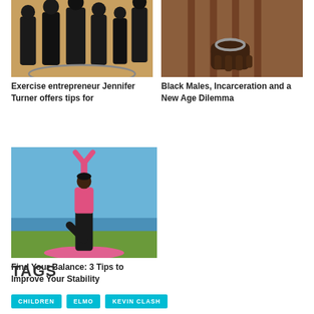[Figure (photo): Group of people in black outfits doing exercise/dance in a gym]
[Figure (photo): Hands in handcuffs behind bars]
Exercise entrepreneur Jennifer Turner offers tips for
Black Males, Incarceration and a New Age Dilemma
[Figure (photo): Woman in pink top practicing yoga tree pose on a pink mat near the ocean]
Find Your Balance: 3 Tips to Improve Your Stability
TAGS
CHILDREN    ELMO    KEVIN CLASH